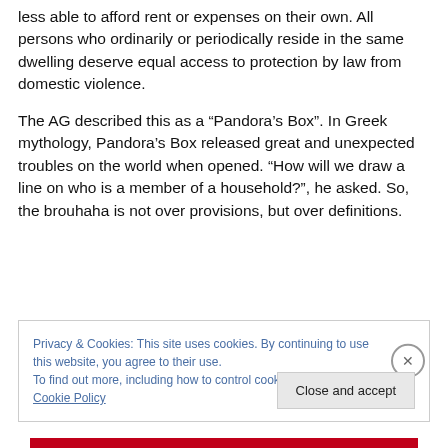less able to afford rent or expenses on their own. All persons who ordinarily or periodically reside in the same dwelling deserve equal access to protection by law from domestic violence.
The AG described this as a “Pandora’s Box”. In Greek mythology, Pandora’s Box released great and unexpected troubles on the world when opened. “How will we draw a line on who is a member of a household?”, he asked. So, the brouhaha is not over provisions, but over definitions.
Privacy & Cookies: This site uses cookies. By continuing to use this website, you agree to their use.
To find out more, including how to control cookies, see here: Cookie Policy